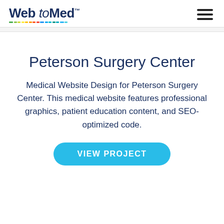Web to Med (logo) with hamburger menu
Peterson Surgery Center
Medical Website Design for Peterson Surgery Center. This medical website features professional graphics, patient education content, and SEO-optimized code.
VIEW PROJECT